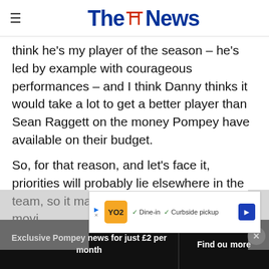The News
think he's my player of the season – he's led by example with courageous performances – and I think Danny thinks it would take a lot to get a better player than Sean Raggett on the money Pompey have available on their budget.
So, for that reason, and let's face it, priorities will probably lie elsewhere in the team, so it make... Sean Raggett... movi... ainly
[Figure (screenshot): Ad banner: YO2 restaurant ad with Dine-in and Curbside pickup checkmarks]
Exclusive Pompey news for just £2 per month | Find out more